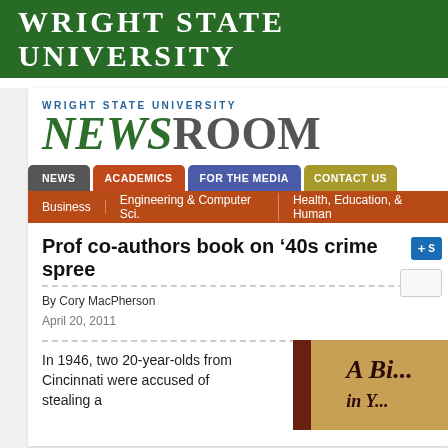Wright State University
[Figure (logo): Wright State University Newsroom logo with green NEWS and gray ROOM text]
NEWS
ACADEMICS
FOR THE MEDIA
CONTACT US
Business
Engineering & Computer Sci.
Health, Education, & Human...
Prof co-authors book on '40s crime spree
By Cory MacPherson
April 20, 2011
In 1946, two 20-year-olds from Cincinnati were accused of stealing a